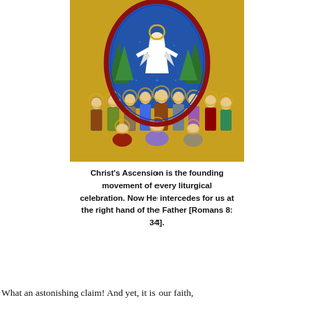[Figure (illustration): Byzantine/Coptic icon depicting the Ascension of Christ. Jesus is shown in white robes ascending into a blue mandorla (oval halo) against a gold background, with green trees visible. Below, a group of apostles and the Virgin Mary look upward, with some kneeling and others standing with hands raised.]
Christ’s Ascension is the founding movement of every liturgical celebration. Now He intercedes for us at the right hand of the Father [Romans 8: 34].
What an astonishing claim! And yet, it is our faith,